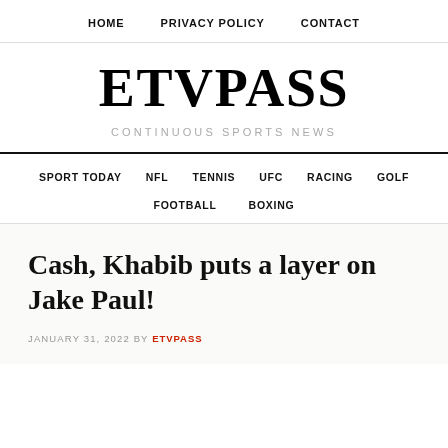HOME   PRIVACY POLICY   CONTACT
ETVPASS
CONTINUOUS SPORTS NEWS
SPORT TODAY   NFL   TENNIS   UFC   RACING   GOLF   FOOTBALL   BOXING
Cash, Khabib puts a layer on Jake Paul!
JANUARY 31, 2022 BY ETVPASS